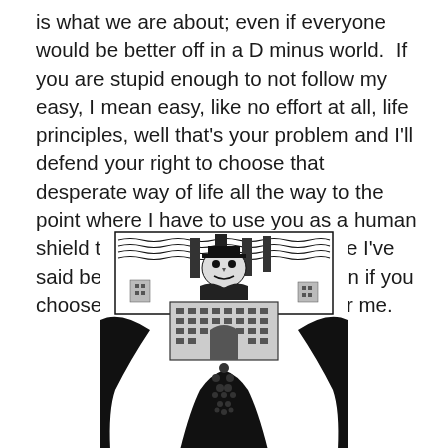is what we are about; even if everyone would be better off in a D minus world.  If you are stupid enough to not follow my easy, I mean easy, like no effort at all, life principles, well that's your problem and I'll defend your right to choose that desperate way of life all the way to the point where I have to use you as a human shield to defend that principle.  Like I've said before, I've got your back even if you choose to be a human sandbag for me.
[Figure (illustration): Black and white illustration showing a large, looming dark figure with arms spread wide, holding or embracing a large factory or industrial building complex in the center. The background shows wavy lines suggesting smoke or clouds and industrial smokestacks. Below the building, a crowd of small figures streams downward. The overall style is stark, woodcut-like black and white art.]